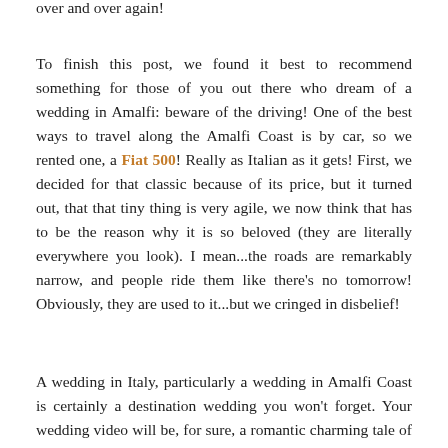over and over again!
To finish this post, we found it best to recommend something for those of you out there who dream of a wedding in Amalfi: beware of the driving! One of the best ways to travel along the Amalfi Coast is by car, so we rented one, a Fiat 500! Really as Italian as it gets! First, we decided for that classic because of its price, but it turned out, that that tiny thing is very agile, we now think that has to be the reason why it is so beloved (they are literally everywhere you look). I mean...the roads are remarkably narrow, and people ride them like there's no tomorrow! Obviously, they are used to it...but we cringed in disbelief!
A wedding in Italy, particularly a wedding in Amalfi Coast is certainly a destination wedding you won't forget. Your wedding video will be, for sure, a romantic charming tale of two lovers under the